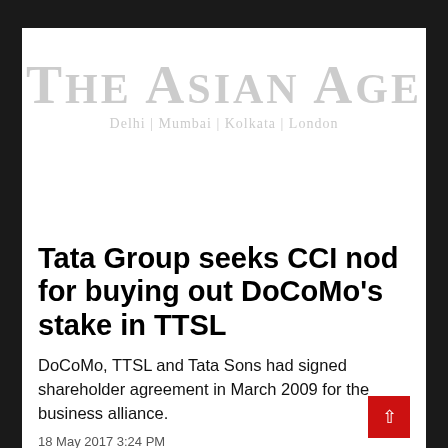[Figure (logo): The Asian Age newspaper logo with tagline Delhi | Mumbai | Kolkata | London]
Tata Group seeks CCI nod for buying out DoCoMo's stake in TTSL
DoCoMo, TTSL and Tata Sons had signed shareholder agreement in March 2009 for the business alliance.
18 May 2017 3:24 PM